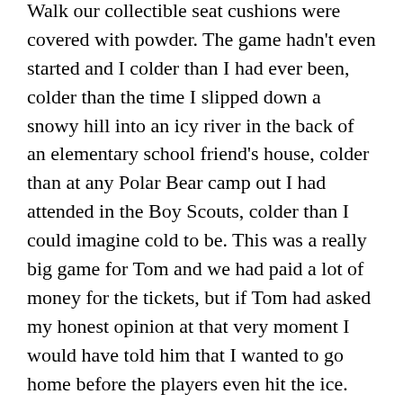Walk our collectible seat cushions were covered with powder. The game hadn't even started and I colder than I had ever been, colder than the time I slipped down a snowy hill into an icy river in the back of an elementary school friend's house, colder than at any Polar Bear camp out I had attended in the Boy Scouts, colder than I could imagine cold to be. This was a really big game for Tom and we had paid a lot of money for the tickets, but if Tom had asked my honest opinion at that very moment I would have told him that I wanted to go home before the players even hit the ice.
I didn't ask Tom to take me home, and we still survived the experience. As more people started filing into their seats I started getting hopeful that they might share their warmth, but the heat didn't seem to be able to survive the minute gap between one person and the next. My scarf kept slipping from my face, revealing my bare skin to the elements. At one point, I took a big risk, unraveled my scarf, and re-applied it tightly over my neck and face, but it had turned around in the process making my neck wet and cold from the ice that had